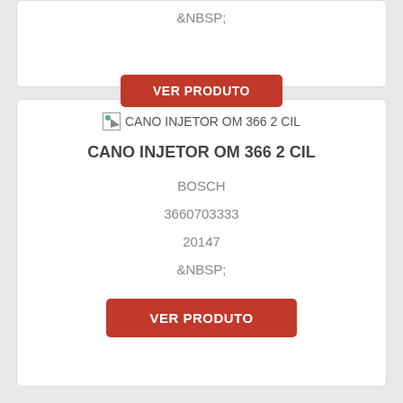&NBSP;
VER PRODUTO
[Figure (other): Broken image placeholder for CANO INJETOR OM 366 2 CIL product]
CANO INJETOR OM 366 2 CIL
BOSCH
3660703333
20147
&NBSP;
VER PRODUTO